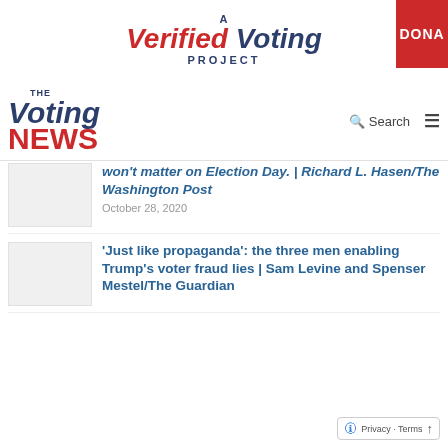[Figure (logo): A Verified Voting Project logo with red and navy italic text, and a red DONATE button on the right]
[Figure (logo): The Voting News logo with navy 'Voting' and red 'NEWS' in bold italic, along with Search and menu icons]
won't matter on Election Day. | Richard L. Hasen/The Washington Post
October 28, 2020
'Just like propaganda': the three men enabling Trump's voter fraud lies | Sam Levine and Spenser Mestel/The Guardian